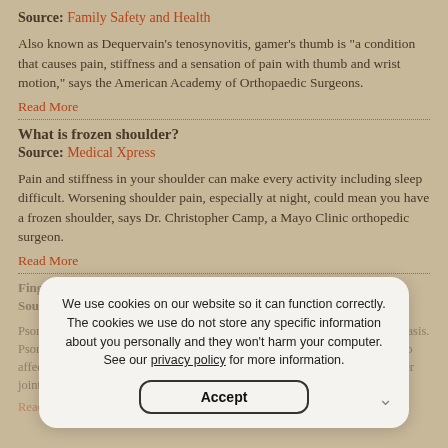Source: Family Safety and Health
Also known as Dequervain's tenosynovitis, gamer's thumb is “a condition that causes pain, stiffness and a sensation of pain with thumb and wrist motion,” says the American Academy of Orthopaedic Surgeons.
Read More
What is frozen shoulder?
Source: Medical Xpress
Pain and stiffness in your shoulder can make every activity including sleep difficult. Worsening shoulder pain, especially at night, could mean you have a frozen shoulder, says Dr. Christopher Camp, a Mayo Clinic orthopedic surgeon.
Read More
Finger psoriatic arthritis: Symptoms and treatment
Source:
Psoriatic arthritis (PsA) is a chronic condition that occurs in people with psoriasis. Psoriasis is an inflammatory disease that affects the skin and nails and can also affect the joints. Finger PsA may cause pain and swelling in one or more finger joints.
Read More
We use cookies on our website so it can function correctly. The cookies we use do not store any specific information about you personally and they won’t harm your computer. See our privacy policy for more information.
Accept